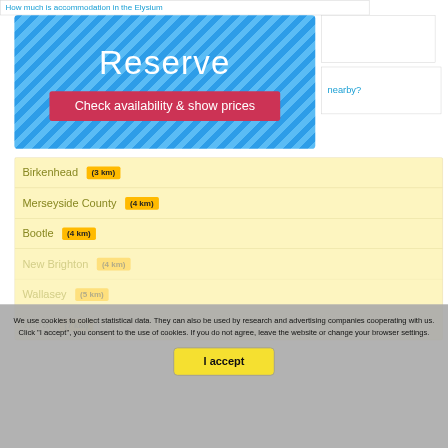How much is accommodation in the Elysium
[Figure (screenshot): Blue striped Reserve box with large white 'Reserve' text and a red 'Check availability & show prices' button]
nearby?
Birkenhead (3 km)
Merseyside County (4 km)
Bootle (4 km)
New Brighton (4 km)
Wallasey (5 km)
Wirral (7 km)
We use cookies to collect statistical data. They can also be used by research and advertising companies cooperating with us. Click "I accept", you consent to the use of cookies. If you do not agree, leave the website or change your browser settings.